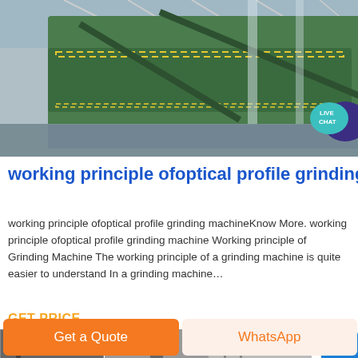[Figure (photo): Industrial grinding/screening machine with green conveyor belts inside a large warehouse facility, reflecting on polished floor]
[Figure (infographic): Live Chat speech bubble icon in teal and dark purple]
working principle ofoptical profile grinding m
working principle ofoptical profile grinding machineKnow More. working principle ofoptical profile grinding machine Working principle of Grinding Machine The working principle of a grinding machine is quite easier to understand In a grinding machine...
GET PRICE
[Figure (photo): Small thumbnail strip of machinery images at bottom of page]
Get a Quote
WhatsApp